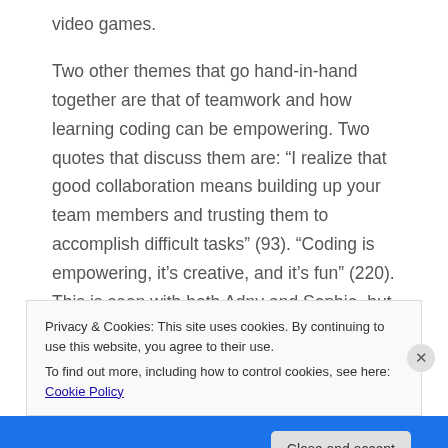video games.
Two other themes that go hand-in-hand together are that of teamwork and how learning coding can be empowering. Two quotes that discuss them are: “I realize that good collaboration means building up your team members and trusting them to accomplish difficult tasks” (93). “Coding is empowering, it’s creative, and it’s fun” (220). This is seen with both Adny and Sophie, but especially with Sophie who previously struggled with public speaking. But with
Privacy & Cookies: This site uses cookies. By continuing to use this website, you agree to their use.
To find out more, including how to control cookies, see here: Cookie Policy